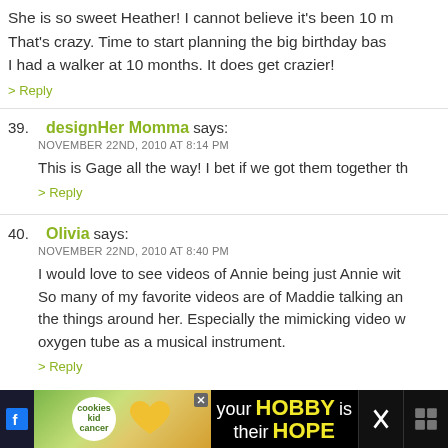She is so sweet Heather! I cannot believe it's been 10 m... That's crazy. Time to start planning the big birthday bas... I had a walker at 10 months. It does get crazier!
> Reply
39. designHer Momma says: NOVEMBER 22ND, 2010 AT 8:14 PM
This is Gage all the way! I bet if we got them together th...
> Reply
40. Olivia says: NOVEMBER 22ND, 2010 AT 8:40 PM
I would love to see videos of Annie being just Annie wit... So many of my favorite videos are of Maddie talking an... the things around her. Especially the mimicking video w... oxygen tube as a musical instrument.
> Reply
[Figure (other): Advertisement banner: 'cookies for kid cancer — your HOBBY is their HOPE' with green/yellow background, cookie heart image, and social media icons on dark background.]